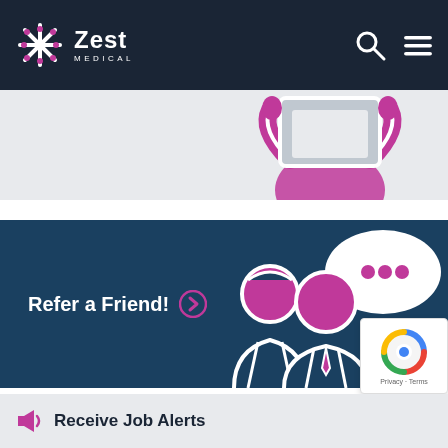Zest Medical
[Figure (illustration): Partial banner showing a cropped illustration of a person at a computer/desk on a light grey background]
[Figure (illustration): Refer a Friend banner on dark teal background with white outline illustrations of two people talking with a speech bubble containing dots, and bold white text 'Refer a Friend!' with a circular arrow icon]
Refer a Friend!
Back to Top ∧
[Figure (illustration): reCAPTCHA widget with spinning logo and Privacy - Terms text]
Receive Job Alerts